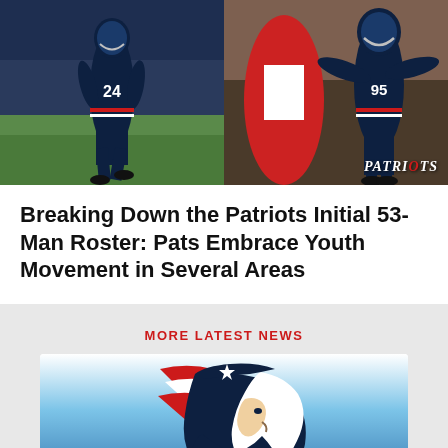[Figure (photo): Two New England Patriots players in action. Left: player wearing #24 jersey running. Right: player wearing #95 jersey in defensive stance. 'PATRIOTS' watermark in bottom right.]
Breaking Down the Patriots Initial 53-Man Roster: Pats Embrace Youth Movement in Several Areas
MORE LATEST NEWS
[Figure (logo): New England Patriots Flying Elvis logo with stadium in background, on blue gradient background.]